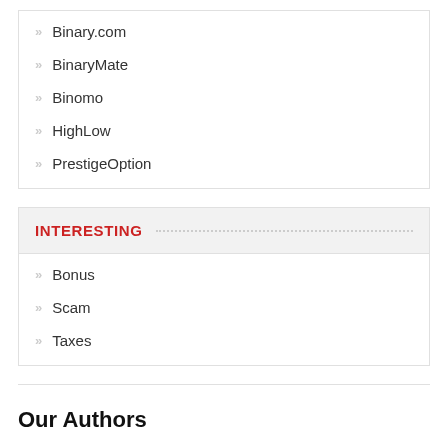Binary.com
BinaryMate
Binomo
HighLow
PrestigeOption
INTERESTING
Bonus
Scam
Taxes
Our Authors